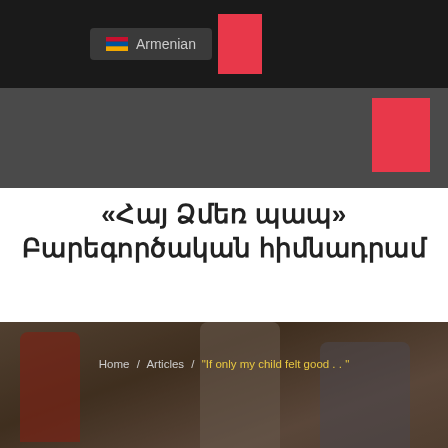Armenian
«Հայ Ձմեռ պապ» Բարեգործական հիմնադրամ
[Figure (screenshot): Website banner showing children at a table with breadcrumb navigation 'Home / Articles / If only my child felt good...' and large italic heading '"If only my child felt good . . "']